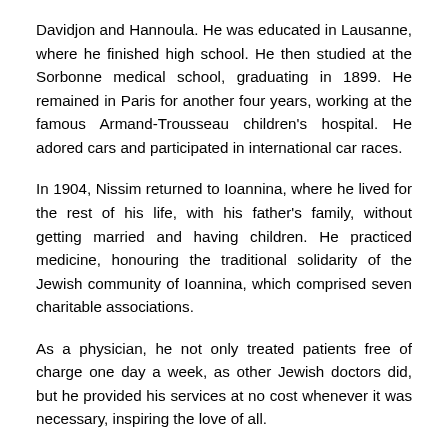Davidjon and Hannoula. He was educated in Lausanne, where he finished high school. He then studied at the Sorbonne medical school, graduating in 1899. He remained in Paris for another four years, working at the famous Armand-Trousseau children's hospital. He adored cars and participated in international car races.
In 1904, Nissim returned to Ioannina, where he lived for the rest of his life, with his father's family, without getting married and having children. He practiced medicine, honouring the traditional solidarity of the Jewish community of Ioannina, which comprised seven charitable associations.
As a physician, he not only treated patients free of charge one day a week, as other Jewish doctors did, but he provided his services at no cost whenever it was necessary, inspiring the love of all.